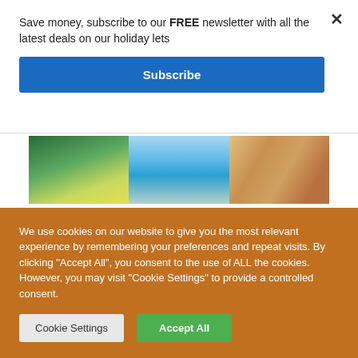Save money, subscribe to our FREE newsletter with all the latest deals on our holiday lets
Subscribe
[Figure (photo): Three photo panels: landscape/field on left, swimming pool in center, person/activity on right]
NOUVELLE-AQUITAINE
Family holiday + pool GRENIER at
We use cookies on our website to give you the most relevant experience by remembering your preferences and repeat visits. By clicking "Accept All", you consent to the use of ALL the cookies. However, you may visit "Cookie Settings" to provide a controlled consent.
Cookie Settings
Accept All